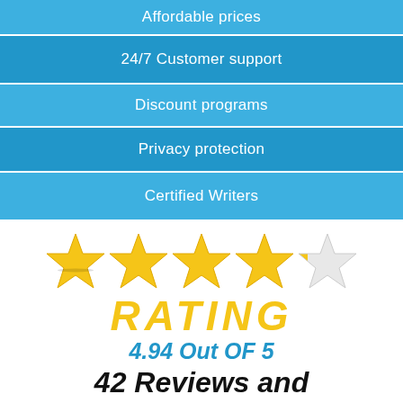Affordable prices
24/7 Customer support
Discount programs
Privacy protection
Certified Writers
[Figure (infographic): 4.94 out of 5 star rating with 5 gold stars (last star partially empty), text RATING, 4.94 Out OF 5, 42 Reviews and]
RATING
4.94 Out OF 5
42 Reviews and